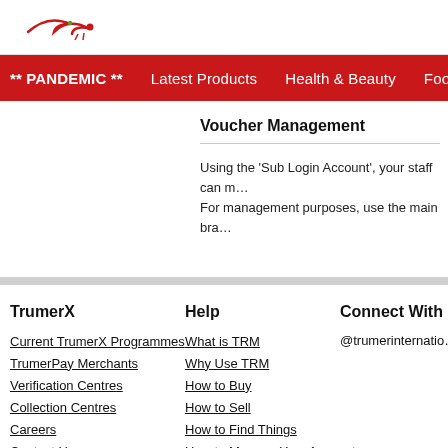[Figure (logo): TrumerX logo - red bird/arrow shape]
** PANDEMIC **   Latest Products   Health & Beauty   Food & B…
Voucher Management
Using the 'Sub Login Account', your staff can m… For management purposes, use the main bra…
TrumerX | Help | Connect With
Current TrumerX Programmes | What is TRM | @trumerinternatio…
TrumerPay Merchants | Why Use TRM
Verification Centres | How to Buy
Collection Centres | How to Sell
Careers | How to Find Things
Contact Us | How to Manage Your Account
Client Agreement | How to Verify Your Account
Client Policies